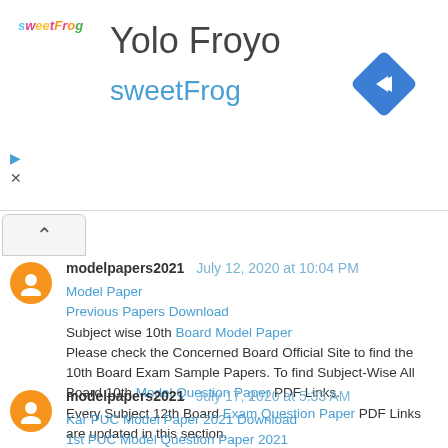[Figure (other): Ad banner for Yolo Froyo / sweetFrog with logo, title, and navigation icon]
modelpapers2021  July 12, 2020 at 10:04 PM
Model Paper
Previous Papers Download
Subject wise 10th Board Model Paper
Please check the Concerned Board Official Site to find the 10th Board Exam Sample Papers. To find Subject-Wise All Board 10th Model Question Paper PDF Links.
Every Subject 12th Board Exam Question Paper PDF Links are updated in this section.
Reply
modelpapers2021  July 17, 2020 at 5:33 AM
Kar PUC Model Paper 2021 Download
1st PUC Model Question Paper 2021